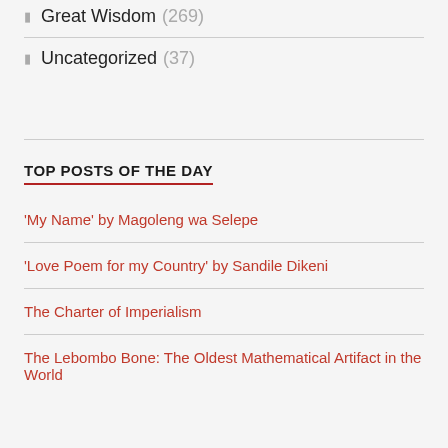Great Wisdom (269)
Uncategorized (37)
TOP POSTS OF THE DAY
'My Name' by Magoleng wa Selepe
'Love Poem for my Country' by Sandile Dikeni
The Charter of Imperialism
The Lebombo Bone: The Oldest Mathematical Artifact in the World